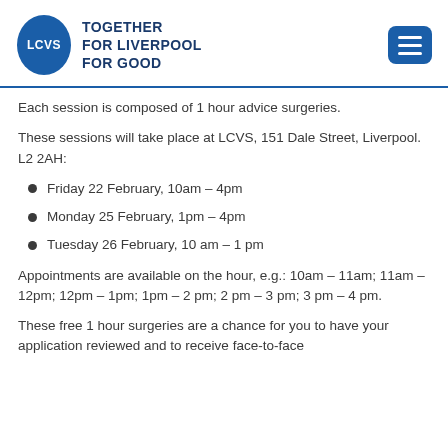[Figure (logo): LCVS logo — blue oval with white LCVS text, beside blue tagline text reading TOGETHER FOR LIVERPOOL FOR GOOD]
Each session is composed of 1 hour advice surgeries.
These sessions will take place at LCVS, 151 Dale Street, Liverpool. L2 2AH:
Friday 22 February, 10am – 4pm
Monday 25 February, 1pm – 4pm
Tuesday 26 February, 10 am – 1 pm
Appointments are available on the hour, e.g.: 10am – 11am; 11am – 12pm; 12pm – 1pm; 1pm – 2 pm; 2 pm – 3 pm; 3 pm – 4 pm.
These free 1 hour surgeries are a chance for you to have your application reviewed and to receive face-to-face